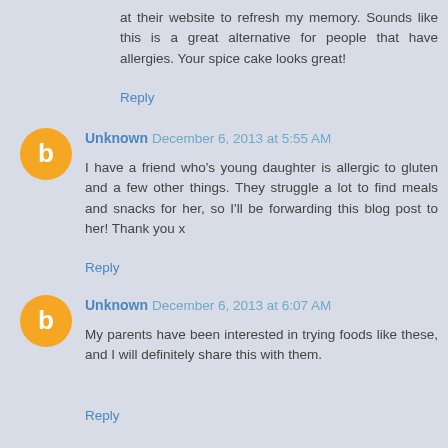at their website to refresh my memory. Sounds like this is a great alternative for people that have allergies. Your spice cake looks great!
Reply
Unknown December 6, 2013 at 5:55 AM
I have a friend who's young daughter is allergic to gluten and a few other things. They struggle a lot to find meals and snacks for her, so I'll be forwarding this blog post to her! Thank you x
Reply
Unknown December 6, 2013 at 6:07 AM
My parents have been interested in trying foods like these, and I will definitely share this with them.
Reply